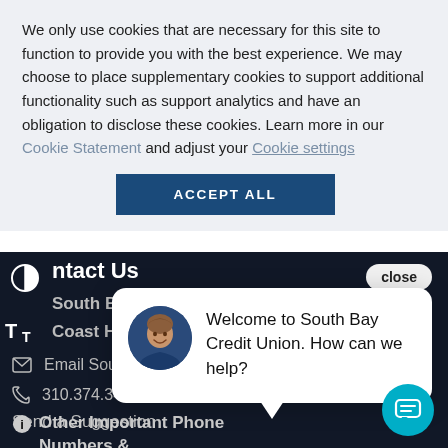We only use cookies that are necessary for this site to function to provide you with the best experience. We may choose to place supplementary cookies to support additional functionality such as support analytics and have an obligation to disclose these cookies. Learn more in our Cookie Statement and adjust your Cookie settings
ACCEPT ALL
Contact Us
South Bay C
Coast Hwy
Email South
310.374.343
Send a Suggestion
Other Important Phone Numbers & Contacts
[Figure (screenshot): Chat popup with avatar showing Welcome to South Bay Credit Union. How can we help?]